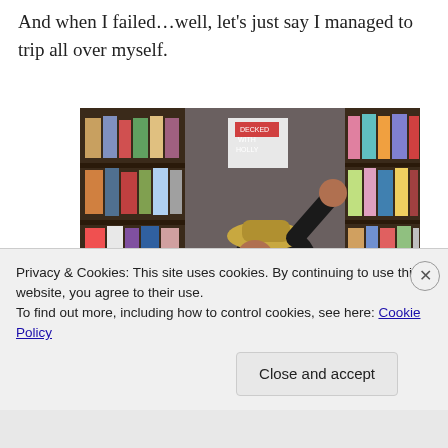And when I failed…well, let's just say I managed to trip all over myself.
[Figure (photo): Person tripping/falling in a bookstore, surrounded by bookshelves filled with books and book covers. The person is wearing a hat and black shirt, crouched/fallen on the floor with their hand raised.]
Privacy & Cookies: This site uses cookies. By continuing to use this website, you agree to their use.
To find out more, including how to control cookies, see here: Cookie Policy
Close and accept